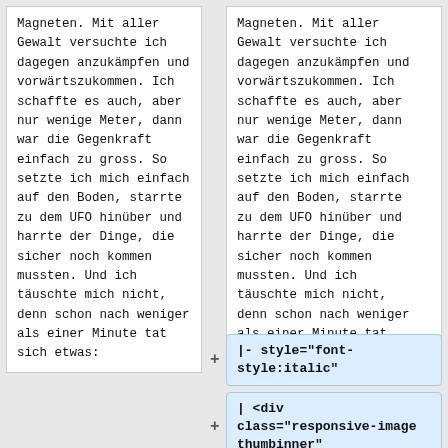Magneten. Mit aller Gewalt versuchte ich dagegen anzukämpfen und vorwärtszukommen. Ich schaffte es auch, aber nur wenige Meter, dann war die Gegenkraft einfach zu gross. So setzte ich mich einfach auf den Boden, starrte zu dem UFO hinüber und harrte der Dinge, die sicher noch kommen mussten. Und ich täuschte mich nicht, denn schon nach weniger als einer Minute tat sich etwas:
Magneten. Mit aller Gewalt versuchte ich dagegen anzukämpfen und vorwärtszukommen. Ich schaffte es auch, aber nur wenige Meter, dann war die Gegenkraft einfach zu gross. So setzte ich mich einfach auf den Boden, starrte zu dem UFO hinüber und harrte der Dinge, die sicher noch kommen mussten. Und ich täuschte mich nicht, denn schon nach weniger als einer Minute tat sich etwas:
|- style="font-style:italic"
| <div class="responsive-image thumbinner"